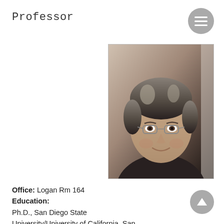Professor
[Figure (photo): Headshot photo of a middle-aged man with glasses and grey-streaked hair, wearing a dark top, smiling.]
Office: Logan Rm 164
Education:
Ph.D., San Diego State University/University of California, San Diego, 2000